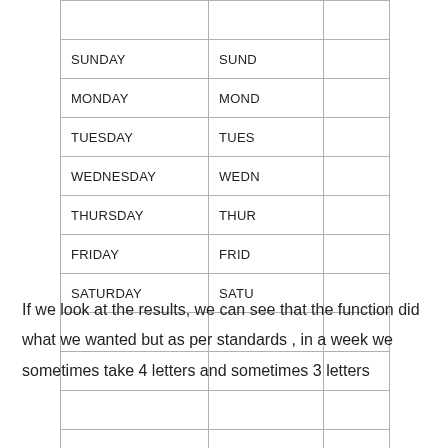|  |  |  |
| --- | --- | --- |
|  |  |  |
| SUNDAY | SUND |  |
| MONDAY | MOND |  |
| TUESDAY | TUES |  |
| WEDNESDAY | WEDN |  |
| THURSDAY | THUR |  |
| FRIDAY | FRID |  |
| SATURDAY | SATU |  |
|  |  |  |
|  |  |  |
|  |  |  |
|  |  |  |
If we look at the results, we can see that the function did what we wanted but as per standards , in a week we sometimes take 4 letters and sometimes 3 letters